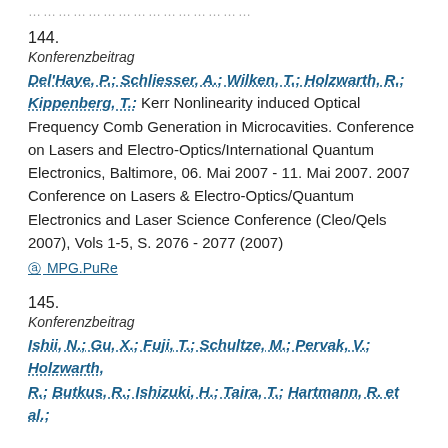……………………………………
144.
Konferenzbeitrag
Del'Haye, P.; Schliesser, A.; Wilken, T.; Holzwarth, R.; Kippenberg, T.: Kerr Nonlinearity induced Optical Frequency Comb Generation in Microcavities. Conference on Lasers and Electro-Optics/International Quantum Electronics, Baltimore, 06. Mai 2007 - 11. Mai 2007. 2007 Conference on Lasers & Electro-Optics/Quantum Electronics and Laser Science Conference (Cleo/Qels 2007), Vols 1-5, S. 2076 - 2077 (2007)
⊙ MPG.PuRe
145.
Konferenzbeitrag
Ishii, N.; Gu, X.; Fuji, T.; Schultze, M.; Pervak, V.; Holzwarth, R.; Butkus, R.; Ishizuki, H.; Taira, T.; Hartmann, R. et al.;